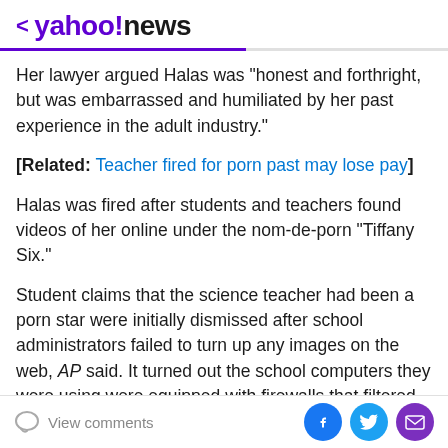< yahoo!news
Her lawyer argued Halas was "honest and forthright, but was embarrassed and humiliated by her past experience in the adult industry."
[Related: Teacher fired for porn past may lose pay]
Halas was fired after students and teachers found videos of her online under the nom-de-porn "Tiffany Six."
Student claims that the science teacher had been a porn star were initially dismissed after school administrators failed to turn up any images on the web, AP said. It turned out the school computers they were using were equipped with firewalls that filtered out any porn.
View comments